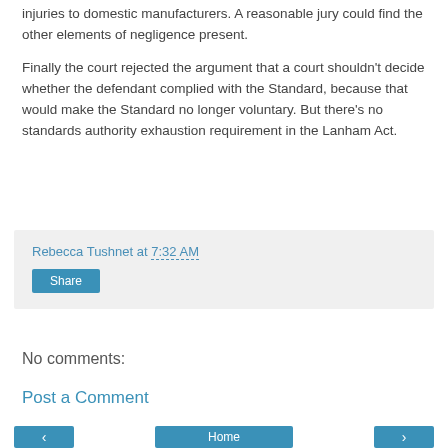injuries to domestic manufacturers. A reasonable jury could find the other elements of negligence present.
Finally the court rejected the argument that a court shouldn’t decide whether the defendant complied with the Standard, because that would make the Standard no longer voluntary. But there’s no standards authority exhaustion requirement in the Lanham Act.
Rebecca Tushnet at 7:32 AM
Share
No comments:
Post a Comment
< Home >